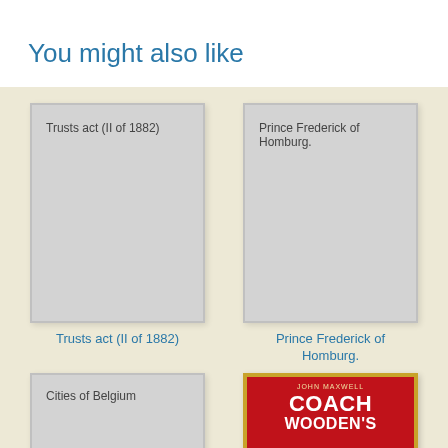You might also like
[Figure (illustration): Book cover placeholder for Trusts act (II of 1882)]
Trusts act (II of 1882)
[Figure (illustration): Book cover placeholder for Prince Frederick of Homburg.]
Prince Frederick of Homburg.
[Figure (illustration): Book cover placeholder for Cities of Belgium]
[Figure (illustration): Book cover for Coach Wooden's showing red cover with gold border and title COACH WOODEN'S]